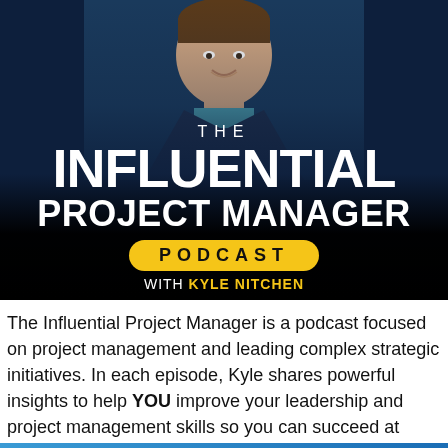[Figure (photo): Podcast cover art: smiling man in suit on dark navy blue background with gradient overlay, showing THE INFLUENTIAL PROJECT MANAGER PODCAST with KYLE NITCHEN text]
The Influential Project Manager is a podcast focused on project management and leading complex strategic initiatives. In each episode, Kyle shares powerful insights to help YOU improve your leadership and project management skills so you can succeed at building all your life's projects.